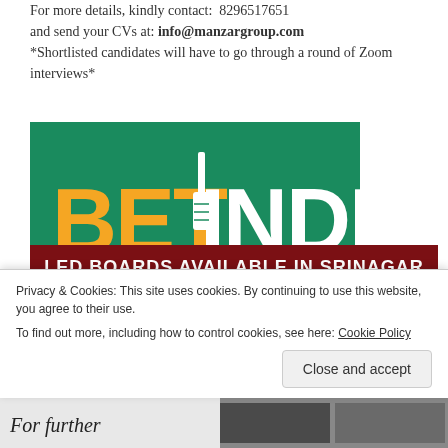For more details, kindly contact:  8296517651 and send your CVs at: info@manzargroup.com *Shortlisted candidates will have to go through a round of Zoom interviews*
[Figure (logo): BET INDIA logo on green background with orange BET text and white INDIA text with a cricket bat icon in the letter I]
[Figure (infographic): LED Boards Available in Srinagar advertisement with dark red header, yellow body listing: Outdoor LED Video Screen, Indoor LED Video Screen, Scrolling Message LED, with a circular image showing LED screens on right side]
Privacy & Cookies: This site uses cookies. By continuing to use this website, you agree to their use.
To find out more, including how to control cookies, see here: Cookie Policy
Close and accept
[Figure (photo): Partial banner at bottom showing 'For further' text with background images]